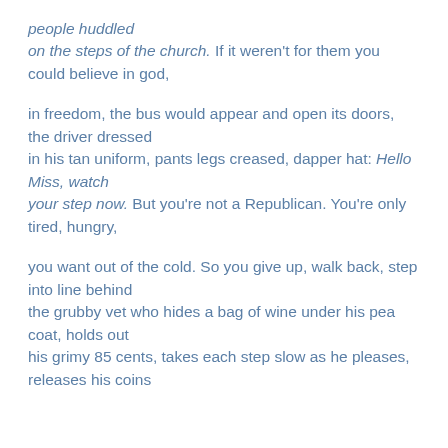people huddled
on the steps of the church. If it weren't for them you could believe in god,

in freedom, the bus would appear and open its doors, the driver dressed
in his tan uniform, pants legs creased, dapper hat: Hello Miss, watch
your step now. But you're not a Republican. You're only tired, hungry,

you want out of the cold. So you give up, walk back, step into line behind
the grubby vet who hides a bag of wine under his pea coat, holds out
his grimy 85 cents, takes each step slow as he pleases, releases his coins